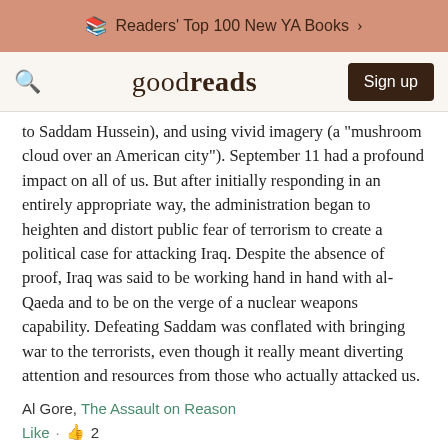Readers' Top 100 New YA Books >
goodreads  Sign up
to Saddam Hussein), and using vivid imagery (a “mushroom cloud over an American city”). September 11 had a profound impact on all of us. But after initially responding in an entirely appropriate way, the administration began to heighten and distort public fear of terrorism to create a political case for attacking Iraq. Despite the absence of proof, Iraq was said to be working hand in hand with al-Qaeda and to be on the verge of a nuclear weapons capability. Defeating Saddam was conflated with bringing war to the terrorists, even though it really meant diverting attention and resources from those who actually attacked us.
Al Gore, The Assault on Reason
Like · 👍 2
“The remedy for what ails our democracy is not simply better education (as important as that is) or